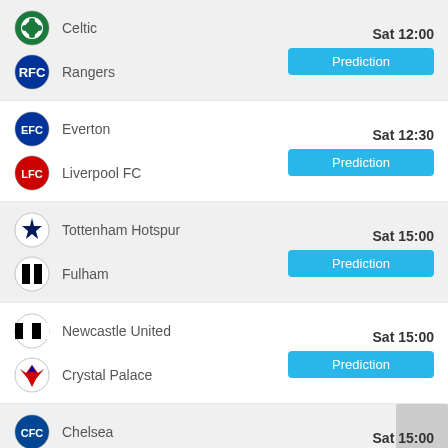Celtic vs Rangers — Sat 12:00 — Prediction
Everton vs Liverpool FC — Sat 12:30 — Prediction
Tottenham Hotspur vs Fulham — Sat 15:00 — Prediction
Newcastle United vs Crystal Palace — Sat 15:00 — Prediction
Chelsea vs West Ham United — Sat 15:00 — Prediction
Brentford — Sat 15:00